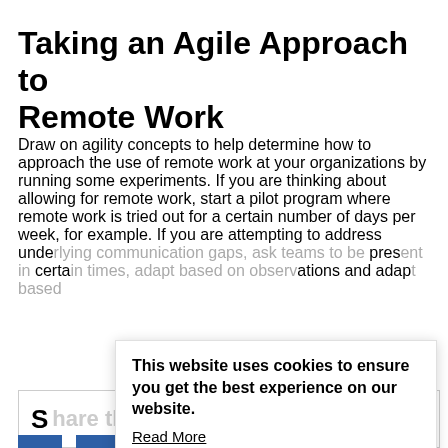Taking an Agile Approach to Remote Work
Draw on agility concepts to help determine how to approach the use of remote work at your organizations by running some experiments. If you are thinking about allowing for remote work, start a pilot program where remote work is tried out for a certain number of days per week, for example. If you are attempting to address underlying communication gaps, ask teams to be present in certain times, adapt based on observations and adapt based...
This website uses cookies to ensure you get the best experience on our website.
Read More
Got it!
Share this Article